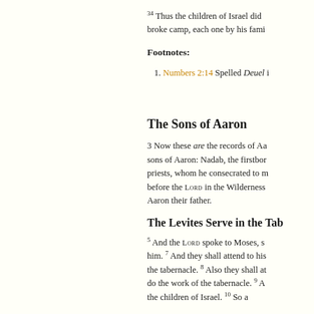34 Thus the children of Israel did according to all that the LORD commanded Moses; so they broke camp, each one by his family, according to their fathers' house, and they set out.
Footnotes:
1. Numbers 2:14 Spelled Deuel in some manuscripts
The Sons of Aaron
3 Now these are the records of Aaron and Moses when the LORD spoke with Moses on Mount Sinai. 2 And these are the names of the sons of Aaron: Nadab, the firstborn, and Abihu, Eleazar, and Ithamar. 3 These are the names of the sons of Aaron, the anointed priests, whom he consecrated to minister as priests. 4 But Nadab and Abihu died before the LORD in the Wilderness of Sinai when they offered unauthorized fire before the LORD; and they had no children. So Eleazar and Ithamar served as priests in the lifetime of Aaron their father.
The Levites Serve in the Tabernacle
5 And the LORD spoke to Moses, saying: 6 Bring the tribe of Levi near, and set them before Aaron the priest, so that they may serve him. 7 And they shall attend to his needs and the needs of the whole congregation before the tabernacle of meeting, to do the work of the tabernacle. 8 Also they shall attend to all the furnishings of the tabernacle of meeting, and attend to the needs of the children of Israel, to do the work of the tabernacle. 9 And you shall give the Levites to Aaron and his sons; they are given entirely to him from among the children of Israel. 10 So you shall appoint Aaron and his sons, and they shall attend to their priesthood; but the outsider who comes near shall be put to death.